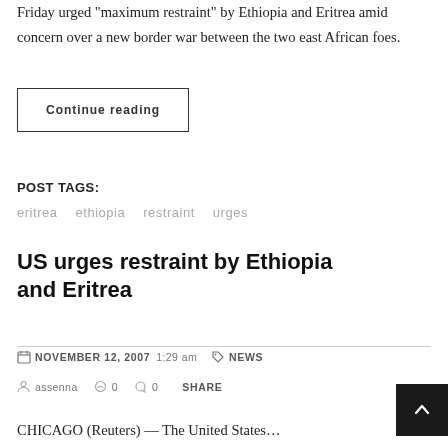Friday urged “maximum restraint” by Ethiopia and Eritrea amid concern over a new border war between the two east African foes.
Continue reading
POST TAGS:
eritrea  ethiopia  restraint  urges
US urges restraint by Ethiopia and Eritrea
NOVEMBER 12, 2007  1:29 am  NEWS
assenna  0  0  SHARE
CHICAGO (Reuters) — The United States…